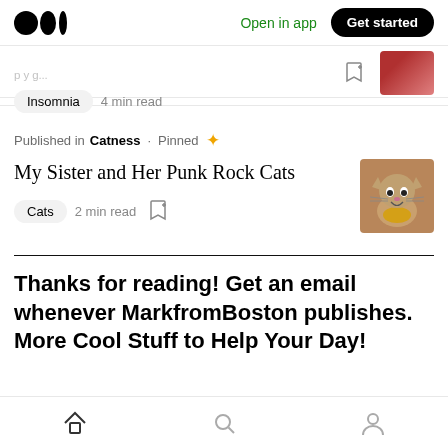Medium logo | Open in app | Get started
Insomnia · 4 min read
Published in Catness · Pinned ✦
My Sister and Her Punk Rock Cats
Cats · 2 min read
Thanks for reading! Get an email whenever MarkfromBoston publishes. More Cool Stuff to Help Your Day!
Home | Search | Profile